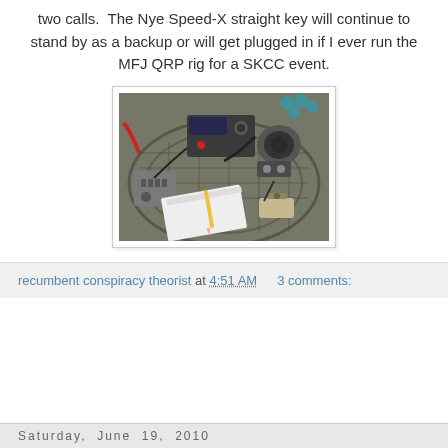two calls.  The Nye Speed-X straight key will continue to stand by as a backup or will get plugged in if I ever run the MFJ QRP rig for a SKCC event.
[Figure (photo): Photo of amateur radio equipment including a transceiver, morse code key, telegraph key, a gray box with knobs, notepad with pencil, and other accessories arranged on a wicker/mesh patio table.]
recumbent conspiracy theorist at 4:51 AM    3 comments:
Saturday, June 19, 2010